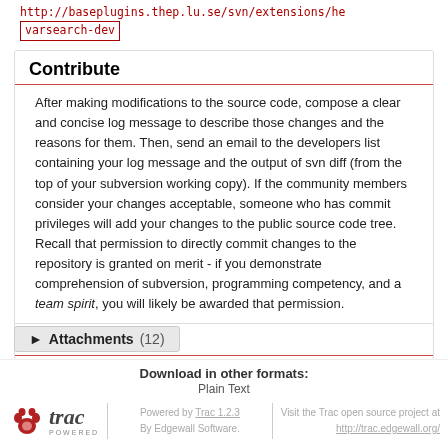http://baseplugins.thep.lu.se/svn/extensions/he varsearch-dev
Contribute
After making modifications to the source code, compose a clear and concise log message to describe those changes and the reasons for them. Then, send an email to the developers list containing your log message and the output of svn diff (from the top of your subversion working copy). If the community members consider your changes acceptable, someone who has commit privileges will add your changes to the public source code tree. Recall that permission to directly commit changes to the repository is granted on merit - if you demonstrate comprehension of subversion, programming competency, and a team spirit, you will likely be awarded that permission.
Todo
No results
▶ Attachments (12)
Download in other formats:
Plain Text
Powered by Trac 1.2.3 By Edgewall Software. Visit the Trac open source project at http://trac.edgewall.org/